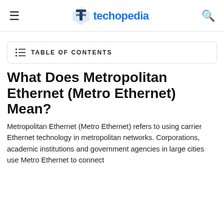techopedia
TABLE OF CONTENTS
What Does Metropolitan Ethernet (Metro Ethernet) Mean?
Metropolitan Ethernet (Metro Ethernet) refers to using carrier Ethernet technology in metropolitan networks. Corporations, academic institutions and government agencies in large cities use Metro Ethernet to connect